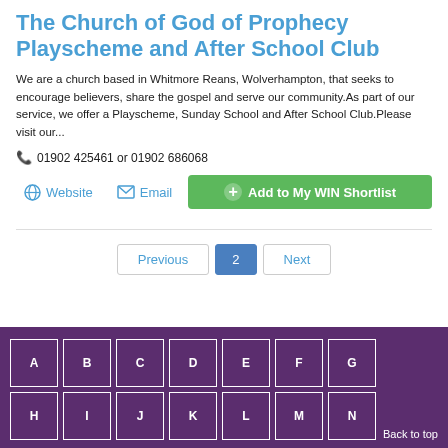The Church of God of Prophecy Playscheme and After School Club
We are a church based in Whitmore Reans, Wolverhampton, that seeks to encourage believers, share the gospel and serve our community.As part of our service, we offer a Playscheme, Sunday School and After School Club.Please visit our...
☎ 01902 425461 or 01902 686068
🌐 Website  ✉ Email  ⊕ Add to My WIN Shortlist
Previous  2  Next
A B C D E F G H I J K L M N
Back to top